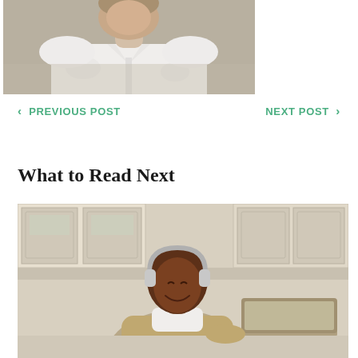[Figure (photo): Person in white shirt, partial upper body photo cropped at top of page]
< PREVIOUS POST
NEXT POST >
What to Read Next
[Figure (photo): Young man wearing headphones smiling, sitting at a laptop in a kitchen, wearing a tan sweater]